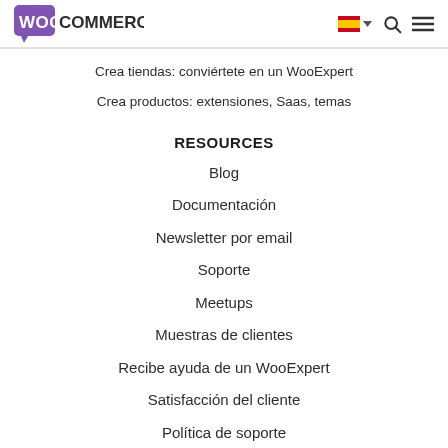[Figure (logo): WooCommerce logo — purple speech bubble with 'WOO' in white and 'COMMERCE' in dark text]
Crea tiendas: conviértete en un WooExpert
Crea productos: extensiones, Saas, temas
RESOURCES
Blog
Documentación
Newsletter por email
Soporte
Meetups
Muestras de clientes
Recibe ayuda de un WooExpert
Satisfacción del cliente
Política de soporte
Política de reembolsos